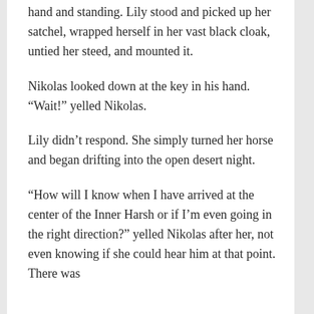hand and standing. Lily stood and picked up her satchel, wrapped herself in her vast black cloak, untied her steed, and mounted it.
Nikolas looked down at the key in his hand. “Wait!” yelled Nikolas.
Lily didn’t respond. She simply turned her horse and began drifting into the open desert night.
“How will I know when I have arrived at the center of the Inner Harsh or if I’m even going in the right direction?” yelled Nikolas after her, not even knowing if she could hear him at that point. There was